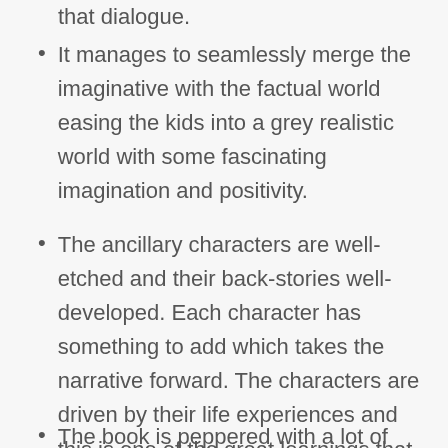that dialogue.
It manages to seamlessly merge the imaginative with the factual world easing the kids into a grey realistic world with some fascinating imagination and positivity.
The ancillary characters are well-etched and their back-stories well-developed. Each character has something to add which takes the narrative forward. The characters are driven by their life experiences and this is one of the great learnings that kids can take from the book.
The book is peppered with a lot of facts and trivia related to animals and physicist terms to help children